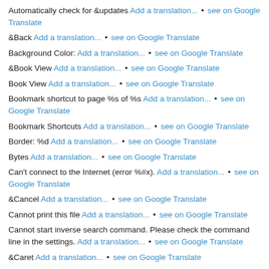Automatically check for &updates Add a translation... • see on Google Translate
&Back Add a translation... • see on Google Translate
Background Color: Add a translation... • see on Google Translate
&Book View Add a translation... • see on Google Translate
Book View Add a translation... • see on Google Translate
Bookmark shortcut to page %s of %s Add a translation... • see on Google Translate
Bookmark Shortcuts Add a translation... • see on Google Translate
Border: %d Add a translation... • see on Google Translate
Bytes Add a translation... • see on Google Translate
Can't connect to the Internet (error %#x). Add a translation... • see on Google Translate
&Cancel Add a translation... • see on Google Translate
Cannot print this file Add a translation... • see on Google Translate
Cannot start inverse search command. Please check the command line in the settings. Add a translation... • see on Google Translate
&Caret Add a translation... • see on Google Translate
[Changes detected; refreshing] %s Add a translation... • see on Google Translate
Checking for update... Add a translation... • see on Google Translate